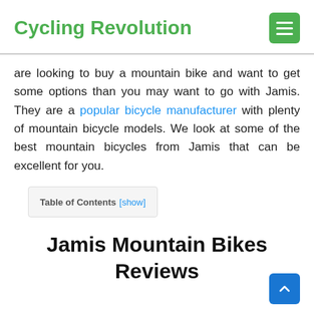Cycling Revolution
are looking to buy a mountain bike and want to get some options than you may want to go with Jamis. They are a popular bicycle manufacturer with plenty of mountain bicycle models. We look at some of the best mountain bicycles from Jamis that can be excellent for you.
| Table of Contents [show] |
| --- |
Jamis Mountain Bikes Reviews